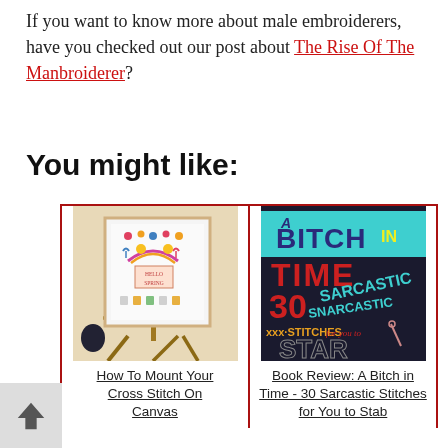If you want to know more about male embroiderers, have you checked out our post about The Rise Of The Manbroiderer?
You might like:
[Figure (photo): Cross stitch artwork on an easel on a wooden floor, showing a spring-themed sampler with text 'HELLO SPRING']
How To Mount Your Cross Stitch On Canvas
[Figure (photo): Book cover: A Bitch in Time - 30 Sarcastic Stitches for You to Stab, colorful typography in blue, red, yellow on dark background]
Book Review: A Bitch in Time - 30 Sarcastic Stitches for You to Stab